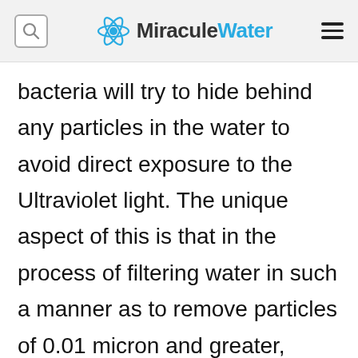MiraculeWater
bacteria will try to hide behind any particles in the water to avoid direct exposure to the Ultraviolet light. The unique aspect of this is that in the process of filtering water in such a manner as to remove particles of 0.01 micron and greater, bacteria are also eliminated due to there size.